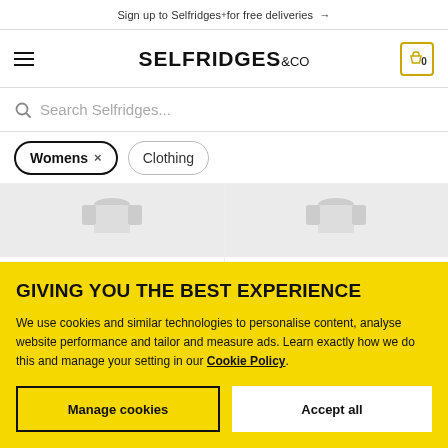Sign up to Selfridges+ for free deliveries →
[Figure (logo): Selfridges & Co logo with hamburger menu and cart icon showing 0 items]
Search Selfridges...
Womens ×
Clothing
[Figure (photo): Two NK IMODE product images partially visible]
GIVING YOU THE BEST EXPERIENCE
We use cookies and similar technologies to personalise content, analyse website performance and tailor and measure ads. Learn exactly how we do this and manage your setting in our Cookie Policy.
Manage cookies
Accept all